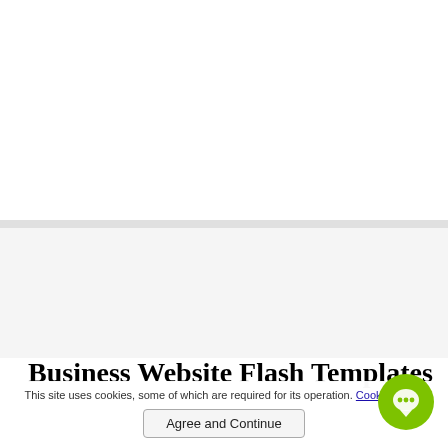[Figure (screenshot): White area at top of webpage, blank content area]
[Figure (screenshot): Gray separator band and light gray content section with inner box placeholder]
Business Website Flash Templates
This site uses cookies, some of which are required for its operation. Cookie policy.
Agree and Continue